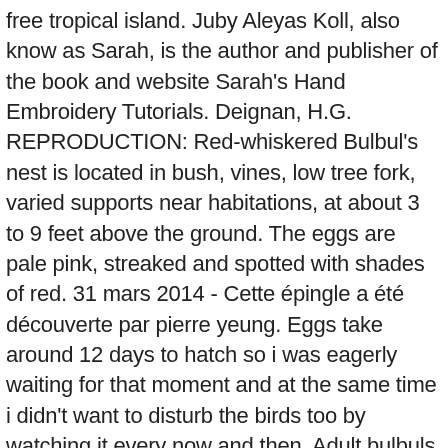free tropical island. Juby Aleyas Koll, also know as Sarah, is the author and publisher of the book and website Sarah's Hand Embroidery Tutorials. Deignan, H.G. REPRODUCTION: Red-whiskered Bulbul's nest is located in bush, vines, low tree fork, varied supports near habitations, at about 3 to 9 feet above the ground. The eggs are pale pink, streaked and spotted with shades of red. 31 mars 2014 - Cette épingle a été découverte par pierre yeung. Eggs take around 12 days to hatch so i was eagerly waiting for that moment and at the same time i didn't want to disturb the birds too by watching it every now and then. Adult bulbuls are around 20-22cm long. Outside of the breeding season, colonies with over 30 birds are also formed. Otocompsa fuscicaudata, (Gould), Hume, Rough Draft N. & E. no. Seeds that pass through their gut germinate better. Red-whiskered Bulbuls build an open cup nest of rootlets, bark and leaves, lined with soft fibre. Juveniles lack the red patch behind the eye, and the vent area is rufous-orange. Photo about The eggs of the Red-whiskered bulbul in the nest. The pictures of the Red-